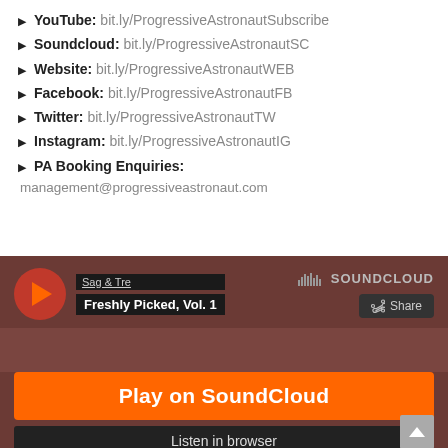► YouTube: bit.ly/ProgressiveAstronautSubscribe
► Soundcloud: bit.ly/ProgressiveAstronautSC
► Website: bit.ly/ProgressiveAstronautWEB
► Facebook: bit.ly/ProgressiveAstronautFB
► Twitter: bit.ly/ProgressiveAstronautTW
► Instagram: bit.ly/ProgressiveAstronautIG
► PA Booking Enquiries:
management@progressiveastronaut.com
[Figure (screenshot): SoundCloud embedded player widget showing 'Sag & Tre - Freshly Picked, Vol. 1' with orange play button, Share button, 'Play on SoundCloud' orange button, and 'Listen in browser' bar on a dark brownish-red background.]